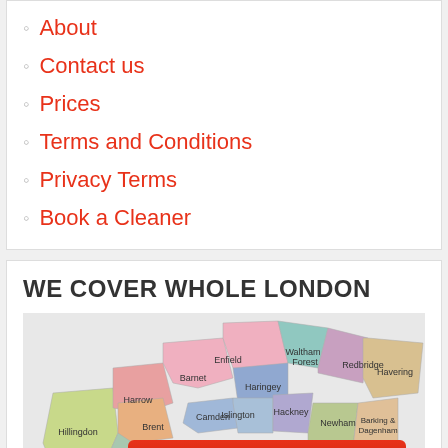About
Contact us
Prices
Terms and Conditions
Privacy Terms
Book a Cleaner
WE COVER WHOLE LONDON
[Figure (map): Map of London boroughs showing areas covered including Enfield, Barnet, Harrow, Brent, Hillingdon, Haringey, Waltham Forest, Redbridge, Havering, Islington, Camden, Hackney, Newham, Barking & Dagenham, Hounslow, Lambeth and others, with colored regions.]